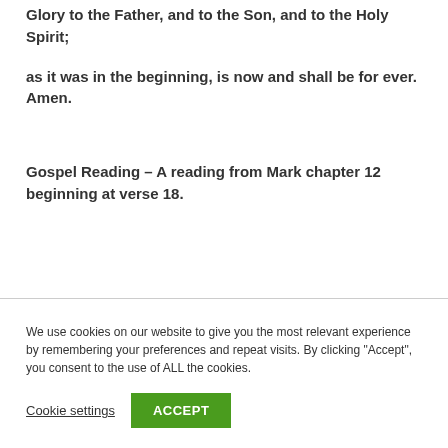Glory to the Father, and to the Son, and to the Holy Spirit;
as it was in the beginning, is now and shall be for ever. Amen.
Gospel Reading – A reading from Mark chapter 12 beginning at verse 18.
We use cookies on our website to give you the most relevant experience by remembering your preferences and repeat visits. By clicking "Accept", you consent to the use of ALL the cookies.
Cookie settings  ACCEPT